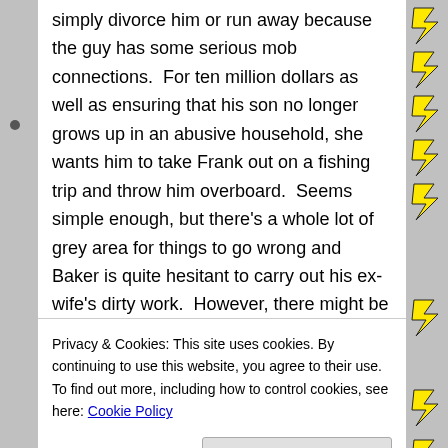simply divorce him or run away because the guy has some serious mob connections.  For ten million dollars as well as ensuring that his son no longer grows up in an abusive household, she wants him to take Frank out on a fishing trip and throw him overboard.  Seems simple enough, but there's a whole lot of grey area for things to go wrong and Baker is quite hesitant to carry out his ex-wife's dirty work.  However, there might be more going on than meets the eye as this latest bit of drama seems to have stirred up something on the island of Plymouth that Baker either never noticed or
Privacy & Cookies: This site uses cookies. By continuing to use this website, you agree to their use.
To find out more, including how to control cookies, see here: Cookie Policy
to do, and can Baker pull off such a scheme if he